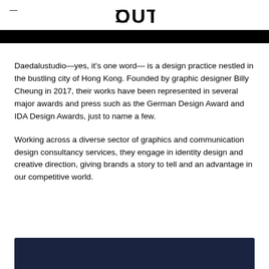OUT (logo)
Daedalustudio—yes, it's one word— is a design practice nestled in the bustling city of Hong Kong. Founded by graphic designer Billy Cheung in 2017, their works have been represented in several major awards and press such as the German Design Award and IDA Design Awards, just to name a few.
Working across a diverse sector of graphics and communication design consultancy services, they engage in identity design and creative direction, giving brands a story to tell and an advantage in our competitive world.
[Figure (other): Dark navy footer banner at the bottom of the page]